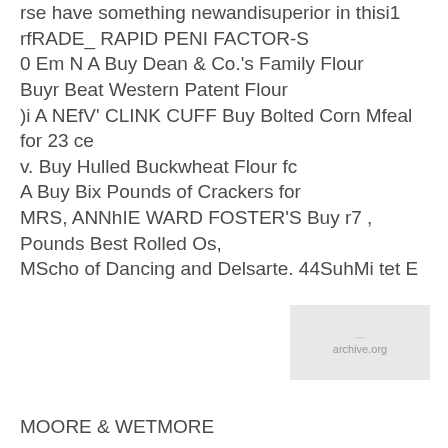rse have something newandisuperior in thisi1
rfRADE_ RAPID PENI FACTOR-S
0 Em N A Buy Dean & Co.'s Family Flour
Buyr Beat Western Patent Flour
)i A NEfV' CLINK CUFF Buy Bolted Corn Mfeal for 23 ce
v. Buy Hulled Buckwheat Flour fc
A Buy Bix Pounds of Crackers for
MRS, ANNhIE WARD FOSTER'S Buy r7 ,
Pounds Best Rolled Os,
MScho of Dancing and Delsarte. 44SuhMi tet E
[Figure (other): Watermark or stamp box with faint text, light gray background]
MOORE & WETMORE